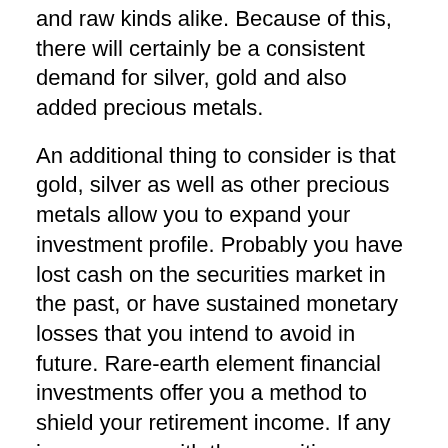and raw kinds alike. Because of this, there will certainly be a consistent demand for silver, gold and also added precious metals.
An additional thing to consider is that gold, silver as well as other precious metals allow you to expand your investment profile. Probably you have lost cash on the securities market in the past, or have sustained monetary losses that you intend to avoid in future. Rare-earth element financial investments offer you a method to shield your retirement income. If any issues occur with the securities market, rare-earth element financial investments are unaffected.
An additional reason to consider is the